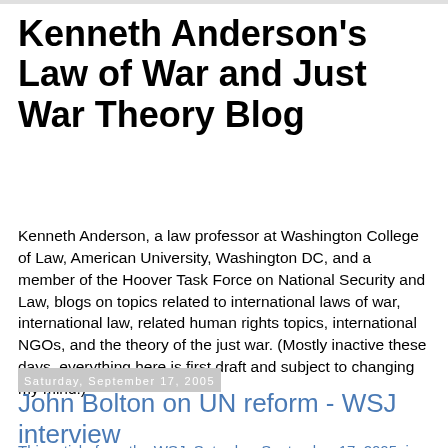Kenneth Anderson's Law of War and Just War Theory Blog
Kenneth Anderson, a law professor at Washington College of Law, American University, Washington DC, and a member of the Hoover Task Force on National Security and Law, blogs on topics related to international laws of war, international law, related human rights topics, international NGOs, and the theory of the just war. (Mostly inactive these days, everything here is first draft and subject to changing my mind.)
Saturday, September 17, 2005
John Bolton on UN reform - WSJ interview
This article from the WSJ, Saturday, September 17, 2005, is...